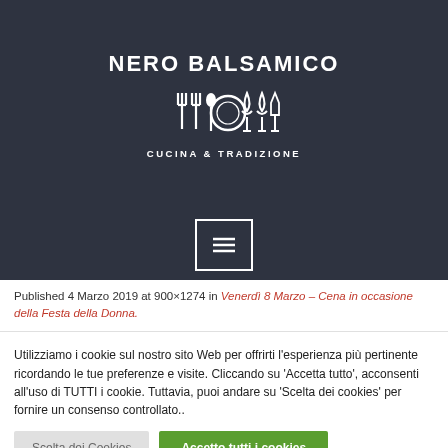NERO BALSAMICO
[Figure (illustration): Cutlery and dining icons (forks, spoon, plate, wine glasses) in white on dark background]
CUCINA & TRADIZIONE
[Figure (other): Menu hamburger icon inside a white bordered square box]
Published 4 Marzo 2019 at 900×1274 in Venerdì 8 Marzo – Cena in occasione della Festa della Donna.
Utilizziamo i cookie sul nostro sito Web per offrirti l'esperienza più pertinente ricordando le tue preferenze e visite. Cliccando su 'Accetta tutto', acconsenti all'uso di TUTTI i cookie. Tuttavia, puoi andare su 'Scelta dei cookies' per fornire un consenso controllato..
Scelta dei Cookies
Accetto tutti i cookies